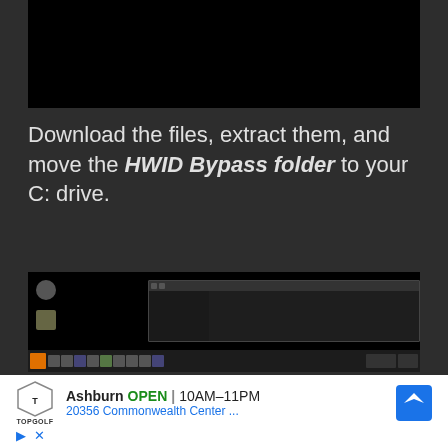[Figure (screenshot): Black screen area at top, representing a video or dark screen content]
Download the files, extract them, and move the HWID Bypass folder to your C: drive.
[Figure (screenshot): Windows desktop screenshot showing desktop icons and a taskbar at the bottom with an open File Explorer window]
[Figure (other): Topgolf advertisement showing Ashburn location OPEN 10AM-11PM, 20356 Commonwealth Center..., with navigation icon and play/close controls]